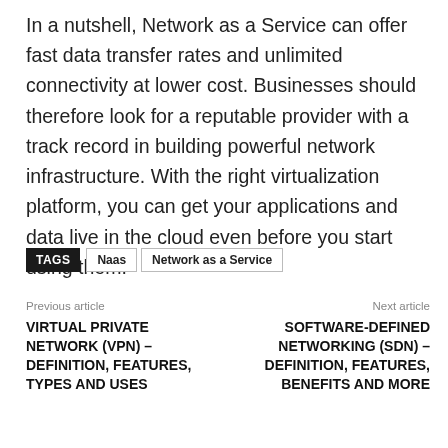In a nutshell, Network as a Service can offer fast data transfer rates and unlimited connectivity at lower cost. Businesses should therefore look for a reputable provider with a track record in building powerful network infrastructure. With the right virtualization platform, you can get your applications and data live in the cloud even before you start using them.
TAGS   Naas   Network as a Service
Previous article
VIRTUAL PRIVATE NETWORK (VPN) – DEFINITION, FEATURES, TYPES AND USES
Next article
SOFTWARE-DEFINED NETWORKING (SDN) – DEFINITION, FEATURES, BENEFITS AND MORE